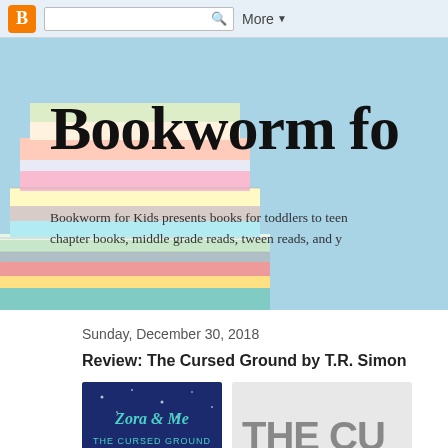Blogger navbar with search and More button
[Figure (screenshot): Blogger navigation bar with orange B icon, search box, and More dropdown button]
Bookworm fo
Bookworm for Kids presents books for toddlers to teens: chapter books, middle grade reads, tween reads, and y
Sunday, December 30, 2018
Review: The Cursed Ground by T.R. Simon
[Figure (photo): Book cover of Zora & Me: The Cursed Ground with dark blue background and teal lettering]
[Figure (photo): Partial text THE CU on light background, likely another book cover]